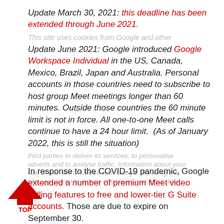Update March 30, 2021: this deadline has been extended through June 2021.
Update June 2021: Google introduced Google Workspace Individual in the US, Canada, Mexico, Brazil, Japan and Australia. Personal accounts in those countries need to subscribe to host group Meet meetings longer than 60 minutes. Outside those countries the 60 minute limit is not in force. All one-to-one Meet calls continue to have a 24 hour limit. (As of January 2022, this is still the situation)
In response to the COVID-19 pandemic, Google extended a number of premium Meet video calling features to free and lower-tier G Suite accounts. Those are due to expire on September 30.